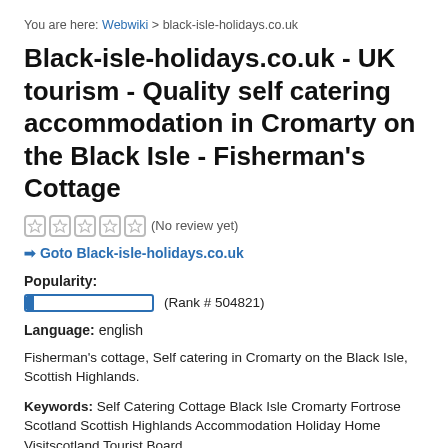You are here: Webwiki > black-isle-holidays.co.uk
Black-isle-holidays.co.uk - UK tourism - Quality self catering accommodation in Cromarty on the Black Isle - Fisherman's Cottage
(No review yet)
➔ Goto Black-isle-holidays.co.uk
Popularity:
(Rank # 504821)
Language: english
Fisherman's cottage, Self catering in Cromarty on the Black Isle, Scottish Highlands.
Keywords: Self Catering Cottage Black Isle Cromarty Fortrose Scotland Scottish Highlands Accommodation Holiday Home Visitscotland Tourist Board